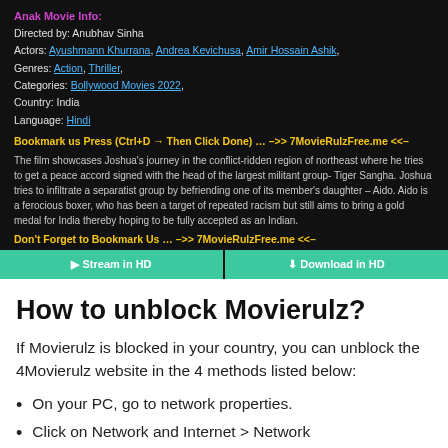Anak Movie Info:
Directed by: Anubhav Sinha
Actors: Ayushmann Khurrana, Andrea Kevichusa, Amir Hossain Ashik,
Genres: Action, Thriller,
Categories: Bollywood Movies 2022,
Country: India
Language: Hindi
Bookmark us Press (Ctrl+D → Then Click Done) … –>> 7MovieRulzFree.me <<–
The film showcases Joshua's journey in the conflict-ridden region of northeast where he tries to get a peace accord signed with the head of the largest militant group- Tiger Sangha. Joshua tries to infiltrate a separatist group by befriending one of its member's daughter – Aido. Aido is a ferocious boxer, who has been a target of repeated racism but still aims to bring a gold medal for India thereby hoping to be fully accepted as an Indian.
Don't Forget to Bookmark Us … –>> 7MovieRulzFree.me <<–
How to unblock Movierulz?
If Movierulz is blocked in your country, you can unblock the 4Movierulz website in the 4 methods listed below:
On your PC, go to network properties.
Click on Network and Internet > Network